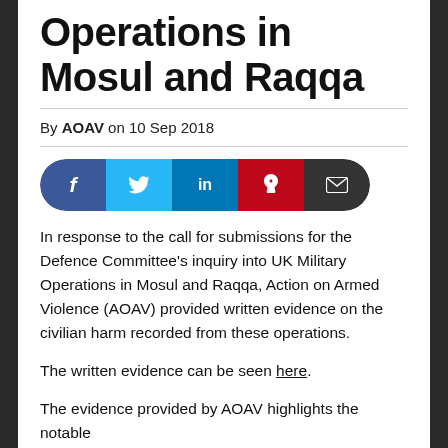Operations in Mosul and Raqqa
By AOAV on 10 Sep 2018
[Figure (other): Social media share buttons row: Facebook (blue), Twitter (cyan), LinkedIn (blue), Pinterest (red), Email (dark grey)]
In response to the call for submissions for the Defence Committee's inquiry into UK Military Operations in Mosul and Raqqa, Action on Armed Violence (AOAV) provided written evidence on the civilian harm recorded from these operations.
The written evidence can be seen here.
The evidence provided by AOAV highlights the notable